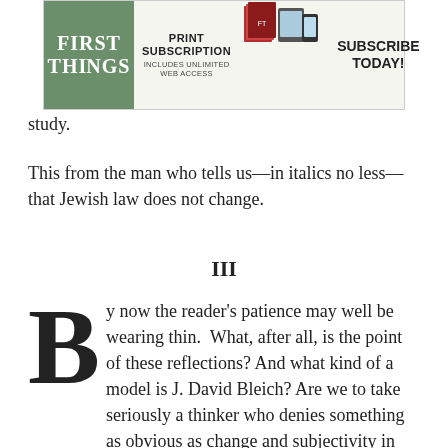[Figure (other): Advertisement banner for First Things magazine. Shows the First Things logo on a green background, with text 'Print Subscription Includes Unlimited Web Access', device images, and 'Subscribe Today!' call to action.]
study.
This from the man who tells us—in italics no less—that Jewish law does not change.
III
By now the reader's patience may well be wearing thin. What, after all, is the point of these reflections? And what kind of a model is J. David Bleich? Are we to take seriously a thinker who denies something as obvious as change and subjectivity in the halakhah, and who, moreover, then proceeds to parade them in his own halakhic writings? Does Bleich's act of cognitive retrenchment speak to